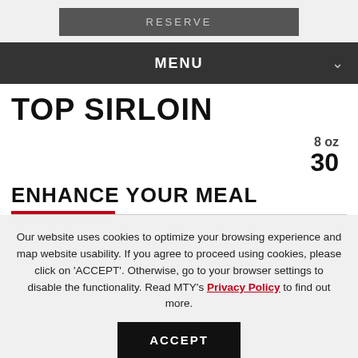RESERVE
MENU
TOP SIRLOIN
8 oz
30
ENHANCE YOUR MEAL
Our website uses cookies to optimize your browsing experience and map website usability. If you agree to proceed using cookies, please click on 'ACCEPT'. Otherwise, go to your browser settings to disable the functionality. Read MTY's Privacy Policy to find out more.
ACCEPT